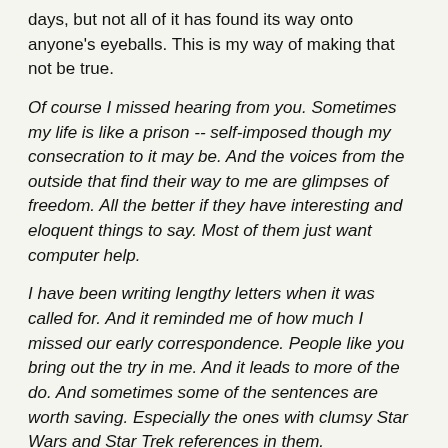days, but not all of it has found its way onto anyone's eyeballs. This is my way of making that not be true.
Of course I missed hearing from you. Sometimes my life is like a prison -- self-imposed though my consecration to it may be. And the voices from the outside that find their way to me are glimpses of freedom. All the better if they have interesting and eloquent things to say. Most of them just want computer help.
I have been writing lengthy letters when it was called for. And it reminded me of how much I missed our early correspondence. People like you bring out the try in me. And it leads to more of the do. And sometimes some of the sentences are worth saving. Especially the ones with clumsy Star Wars and Star Trek references in them.
The stirring is just to occupy the silences. The contemplative, suggestive, downcast-eyes, French-movie silences. I will buy you an espresso and a coffee. One to drink. One to stir. Or it can be a glass of water, if you like. With a spoon in it.